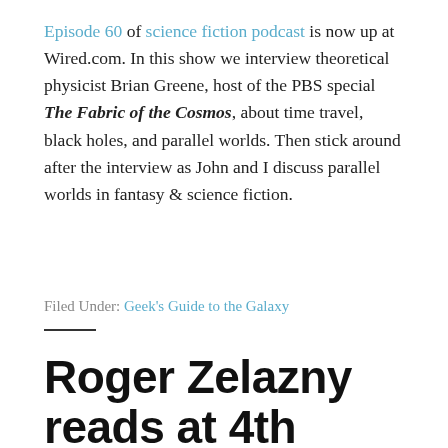Episode 60 of science fiction podcast is now up at Wired.com. In this show we interview theoretical physicist Brian Greene, host of the PBS special The Fabric of the Cosmos, about time travel, black holes, and parallel worlds. Then stick around after the interview as John and I discuss parallel worlds in fantasy & science fiction.
Filed Under: Geek's Guide to the Galaxy
Roger Zelazny reads at 4th Street Fantasy